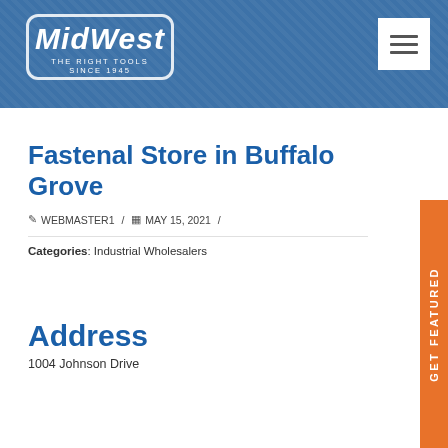MidWest — The Right Tools Since 1945
Fastenal Store in Buffalo Grove
✎ WEBMASTER1 / 📅 MAY 15, 2021 /
Categories: Industrial Wholesalers
Address
1004 Johnson Drive